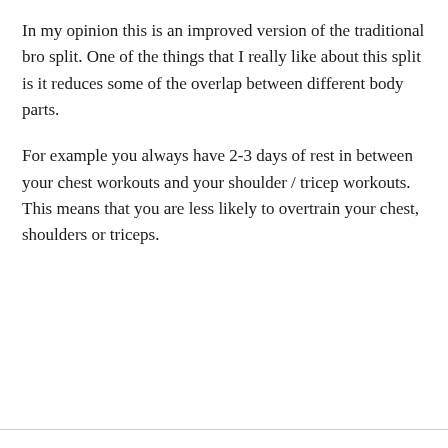In my opinion this is an improved version of the traditional bro split. One of the things that I really like about this split is it reduces some of the overlap between different body parts.
For example you always have 2-3 days of rest in between your chest workouts and your shoulder / tricep workouts. This means that you are less likely to overtrain your chest, shoulders or triceps.